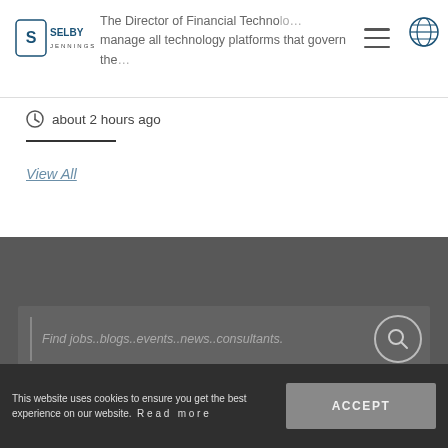[Figure (logo): Selby Jennings logo with S icon and text SELBY JENNINGS]
The Director of Financial Technology will manage all technology platforms that govern the...
about 2 hours ago
View All
Find jobs..blogs..events..news..consultants.
This website uses cookies to ensure you get the best experience on our website. Read more
ACCEPT